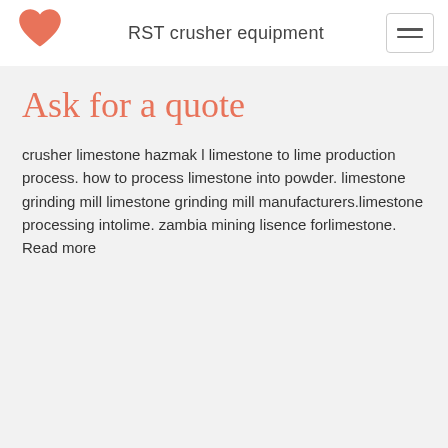RST crusher equipment
Ask for a quote
crusher limestone hazmak l limestone to lime production process. how to process limestone into powder. limestone grinding mill limestone grinding mill manufacturers.limestone processing intolime. zambia mining lisence forlimestone. Read more